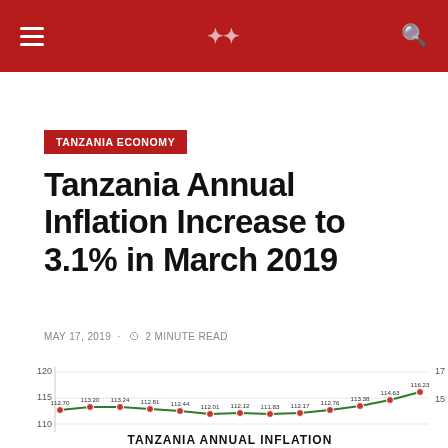Tanzania Economy
TANZANIA ECONOMY
Tanzania Annual Inflation Increase to 3.1% in March 2019
MAY 17, 2019 · 2 MINUTE READ
[Figure (line-chart): TANZANIA ANNUAL INFLATION]